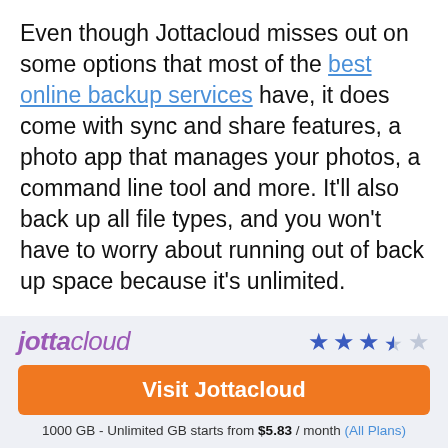Even though Jottacloud misses out on some options that most of the best online backup services have, it does come with sync and share features, a photo app that manages your photos, a command line tool and more. It'll also back up all file types, and you won't have to worry about running out of back up space because it's unlimited.
Jottacloud might not be the best choice for everyone, but it's easy to give it a try, thanks to its free plans. If you want to learn more
[Figure (infographic): Jottacloud promotional bar with logo in purple italic, star rating (3.5 out of 5 stars in blue), orange 'Visit Jottacloud' button, and pricing info '1000 GB - Unlimited GB starts from $5.83 / month (All Plans)']